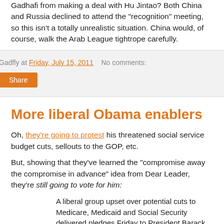Gadhafi from making a deal with Hu Jintao? Both China and Russia declined to attend the "recognition" meeting, so this isn't a totally unrealistic situation. China would, of course, walk the Arab League tightrope carefully.
Gadfly at Friday, July 15, 2011   No comments:
Share
More liberal Obama enablers
Oh, they're going to protest his threatened social service budget cuts, sellouts to the GOP, etc.
But, showing that they've learned the "compromise away the compromise in advance" idea from Dear Leader, they're still going to vote for him:
A liberal group upset over potential cuts to Medicare, Medicaid and Social Security delivered pledges Friday to President Barack Obama's